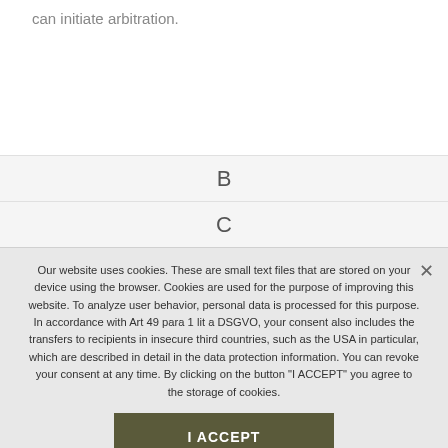can initiate arbitration.
B
C
Our website uses cookies. These are small text files that are stored on your device using the browser. Cookies are used for the purpose of improving this website. To analyze user behavior, personal data is processed for this purpose. In accordance with Art 49 para 1 lit a DSGVO, your consent also includes the transfers to recipients in insecure third countries, such as the USA in particular, which are described in detail in the data protection information. You can revoke your consent at any time. By clicking on the button "I ACCEPT" you agree to the storage of cookies.
I ACCEPT